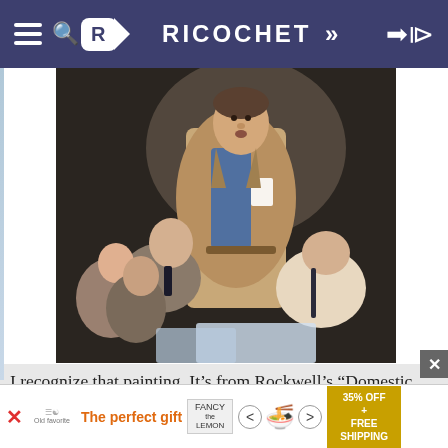RICOCHET
[Figure (illustration): Norman Rockwell style painting showing a man in a tan jacket standing and speaking at a town meeting, surrounded by seated listeners looking up at him]
I recognize that painting. It's from Rockwell's "Domestic Terrorist" series, isn't it?
#2
[Figure (infographic): Advertisement banner: 'The perfect gift' in orange text, showing a product image and food bowl, with navigation arrows and a gold '35% OFF + FREE SHIPPING' call-to-action box]